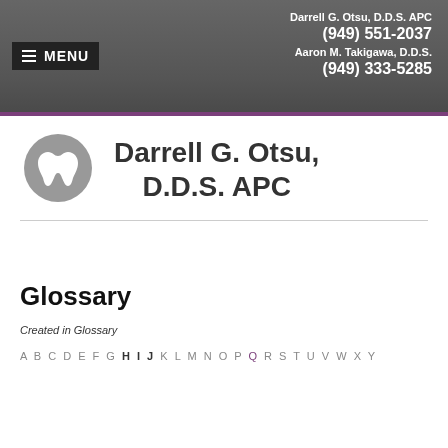Darrell G. Otsu, D.D.S. APC | (949) 551-2037 | Aaron M. Takigawa, D.D.S. | (949) 333-5285 | MENU
Darrell G. Otsu, D.D.S. APC
Glossary
Created in Glossary
A B C D E F G H I J K L M N O P Q R S T U V W X Y